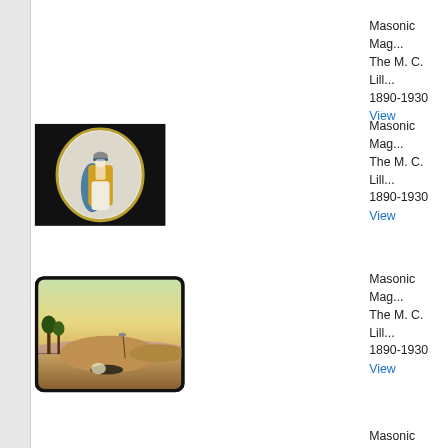Masonic Mag...
The M. C. Lill...
1890-1930
View
[Figure (photo): Lantern slide showing a figure in colorful robes standing inside an oval/elliptical gold-framed circle on a black background]
Masonic Mag...
The M. C. Lill...
1890-1930
View
[Figure (photo): Lantern slide with rounded rectangular border showing a desert landscape with sand mounds, trees on the left, a shovel or tool stuck in the ground, and a glowing object on the ground]
Masonic Mag...
The M. C. Lill...
1890-1930
View
Masonic Mag...